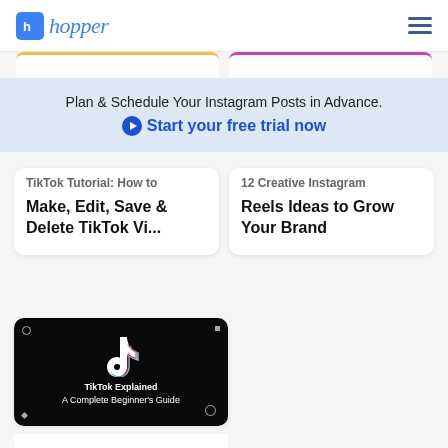hopper
Plan & Schedule Your Instagram Posts in Advance. Start your free trial now
TikTok Tutorial: How to Make, Edit, Save & Delete TikTok Vi...
12 Creative Instagram Reels Ideas to Grow Your Brand
[Figure (screenshot): TikTok Explained: A Complete Beginner's Guide thumbnail with TikTok logo on dark background]
TikTok Explained: A Complete Beginner's Guide